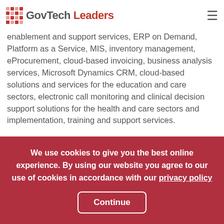GovTech Leaders
enablement and support services, ERP on Demand, Platform as a Service, MIS, inventory management, eProcurement, cloud-based invoicing, business analysis services, Microsoft Dynamics CRM, cloud-based solutions and services for the education and care sectors, electronic call monitoring and clinical decision support solutions for the health and care sectors and implementation, training and support services.
[Figure (illustration): Decorative dot/circle pattern graphic in grey and dark red colors on a light grey background]
We use cookies to give you the best online experience. By using our website you agree to our use of cookies in accordance with our privacy policy